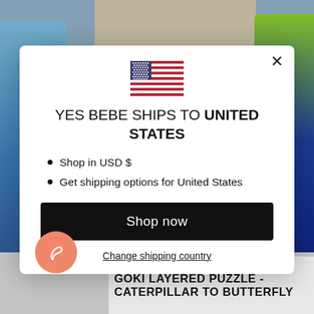[Figure (screenshot): Background of e-commerce product page showing colorful children's products on left, tan colored product in top center, and green/blue product on right]
YES BEBE SHIPS TO UNITED STATES
Shop in USD $
Get shipping options for United States
Shop now
Change shipping country
GOKI LAYERED PUZZLE - CATERPILLAR TO BUTTERFLY